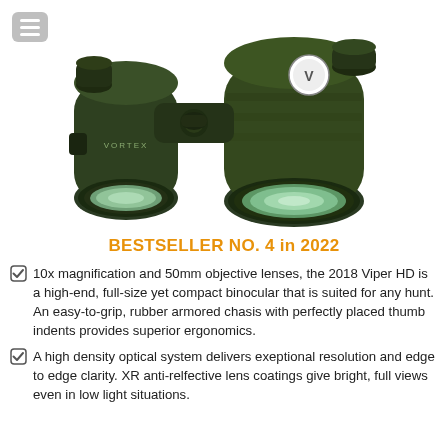[Figure (photo): Green Vortex Viper HD 10x50 binoculars shown at an angle with large objective lenses facing the viewer, on a white background. A hamburger menu icon is visible in the top-left corner.]
BESTSELLER NO. 4 in 2022
10x magnification and 50mm objective lenses, the 2018 Viper HD is a high-end, full-size yet compact binocular that is suited for any hunt. An easy-to-grip, rubber armored chasis with perfectly placed thumb indents provides superior ergonomics.
A high density optical system delivers exeptional resolution and edge to edge clarity. XR anti-relfective lens coatings give bright, full views even in low light situations.